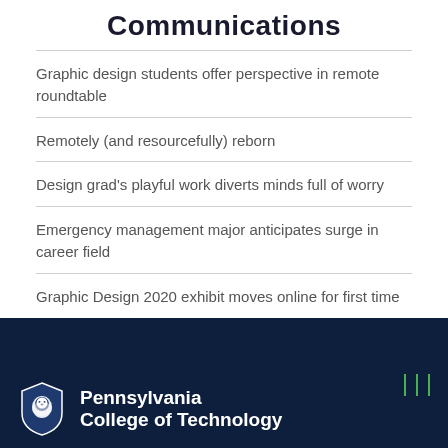Communications
Graphic design students offer perspective in remote roundtable
Remotely (and resourcefully) reborn
Design grad's playful work diverts minds full of worry
Emergency management major anticipates surge in career field
Graphic Design 2020 exhibit moves online for first time
[Figure (logo): Pennsylvania College of Technology Penn State shield logo with lion mascot, white on dark navy background]